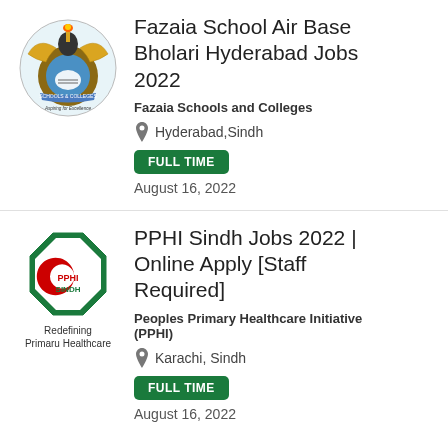[Figure (logo): Fazaia Schools and Colleges crest logo with eagle, torch, books and banner]
Fazaia School Air Base Bholari Hyderabad Jobs 2022
Fazaia Schools and Colleges
Hyderabad,Sindh
FULL TIME
August 16, 2022
[Figure (logo): PPHI Sindh octagonal logo with red crescent on white background, green border. Text: PPHI SINDH. Below: Redefining Primary Healthcare]
PPHI Sindh Jobs 2022 | Online Apply [Staff Required]
Peoples Primary Healthcare Initiative (PPHI)
Karachi, Sindh
FULL TIME
August 16, 2022